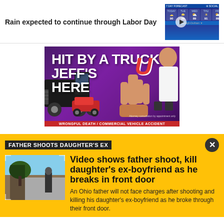Rain expected to continue through Labor Day
[Figure (screenshot): 7-day weather forecast widget showing temperature icons and values around 88-91 degrees with a video play button overlay]
[Figure (photo): Advertisement banner: HIT BY A TRUCK? JEFF'S HERE — showing a semi truck collision, person holding up 4 fingers, and an attorney in a suit with a red U logo. Text: Attorney consultation by appointment only. WRONGFUL DEATH / COMMERCIAL VEHICLE ACCIDENT]
FATHER SHOOTS DAUGHTER'S EX
[Figure (photo): Security camera footage showing a person approaching a front door outdoors]
Video shows father shoot, kill daughter's ex-boyfriend as he breaks in front door
An Ohio father will not face charges after shooting and killing his daughter's ex-boyfriend as he broke through their front door.